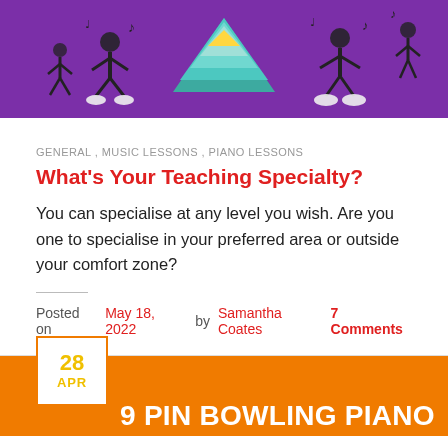[Figure (illustration): Purple banner with cartoon music note characters and a colorful pyramid/triangle graphic on white background]
GENERAL , MUSIC LESSONS , PIANO LESSONS
What's Your Teaching Specialty?
You can specialise at any level you wish. Are you one to specialise in your preferred area or outside your comfort zone?
Posted on May 18, 2022 by Samantha Coates   7 Comments
[Figure (illustration): Orange banner for second blog post with date badge showing 28 APR and partial white text reading '9 PIN BOWLING PIANO']